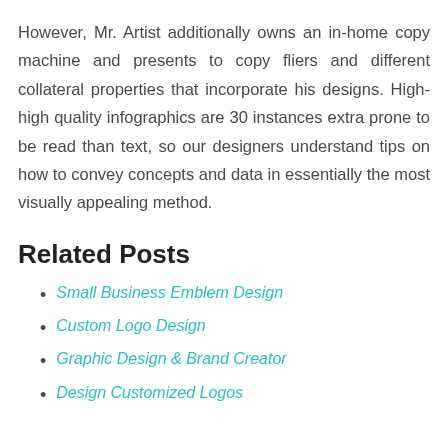However, Mr. Artist additionally owns an in-home copy machine and presents to copy fliers and different collateral properties that incorporate his designs. High-high quality infographics are 30 instances extra prone to be read than text, so our designers understand tips on how to convey concepts and data in essentially the most visually appealing method.
Related Posts
Small Business Emblem Design
Custom Logo Design
Graphic Design & Brand Creator
Design Customized Logos